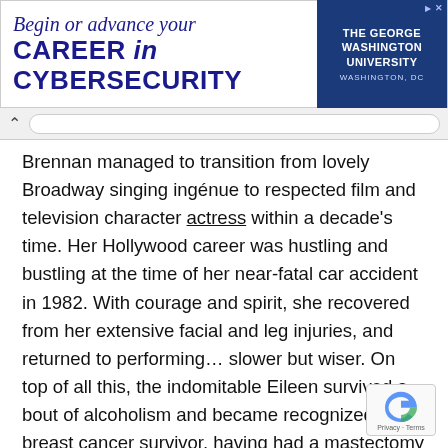[Figure (other): Advertisement banner for The George Washington University cybersecurity program. Text reads 'Begin or advance your CAREER in CYBERSECURITY' with the university logo on the right side showing 'THE GEORGE WASHINGTON UNIVERSITY WASHINGTON, DC']
Brennan managed to transition from lovely Broadway singing ingénue to respected film and television character actress within a decade's time. Her Hollywood career was hustling and bustling at the time of her near-fatal car accident in 1982. With courage and spirit, she recovered from her extensive facial and leg injuries, and returned to performing... slower but wiser. On top of all this, the indomitable Eileen survived a bout of alcoholism and became recognized as a breast cancer survivor, having had a mastectomy in 1990. On camera, she still tosses out those trademark barbs to the delight of all her fans, as demonstrated by her more-recent recurring roles as the prying Mrs. Bink on 7th Heaven (1996) and as Zandra, the disparaging acting coach, on Will & G (1998).